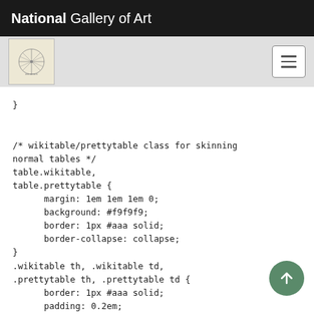National Gallery of Art
[Figure (screenshot): Navigation bar with art icon/logo and hamburger menu button on gray background]
}


/* wikitable/prettytable class for skinning normal tables */
table.wikitable,
table.prettytable {
    margin: 1em 1em 1em 0;
    background: #f9f9f9;
    border: 1px #aaa solid;
    border-collapse: collapse;
}
.wikitable th, .wikitable td,
.prettytable th, .prettytable td {
    border: 1px #aaa solid;
    padding: 0.2em;
}
.wikitable th